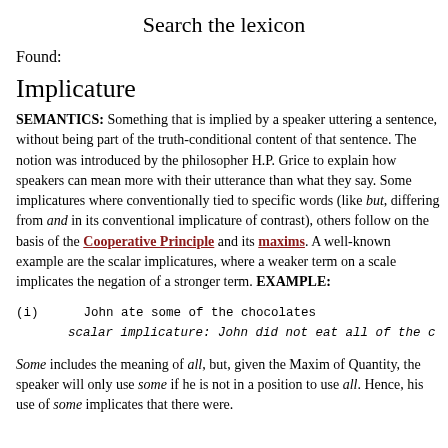Search the lexicon
Found:
Implicature
SEMANTICS: Something that is implied by a speaker uttering a sentence, without being part of the truth-conditional content of that sentence. The notion was introduced by the philosopher H.P. Grice to explain how speakers can mean more with their utterance than what they say. Some implicatures where conventionally tied to specific words (like but, differing from and in its conventional implicature of contrast), others follow on the basis of the Cooperative Principle and its maxims. A well-known example are the scalar implicatures, where a weaker term on a scale implicates the negation of a stronger term. EXAMPLE:
(i)      John ate some of the chocolates
         scalar implicature: John did not eat all of the c
Some includes the meaning of all, but, given the Maxim of Quantity, the speaker will only use some if he is not in a position to use all. Hence, his use of some implicates that there were.